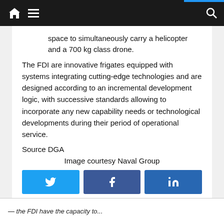Navigation bar with home, menu, and search icons
space to simultaneously carry a helicopter and a 700 kg class drone.
The FDI are innovative frigates equipped with systems integrating cutting-edge technologies and are designed according to an incremental development logic, with successive standards allowing to incorporate any new capability needs or technological developments during their period of operational service.
Source DGA
Image courtesy Naval Group
[Figure (other): Social share buttons: Twitter, Facebook, LinkedIn]
footer text continuation